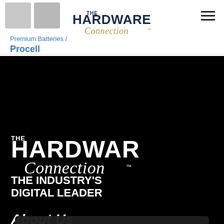[Figure (logo): The Hardware Connection logo - dark blue bold text 'THE HARDWARE' with 'Connection' in gold cursive below]
Premium Batteries /
Procell
[Figure (logo): Large white Hardware Connection logo on black background - THE HARDWARE Connection THE INDUSTRY'S DIGITAL LEADER]
About Us
We use cookies to ensure that we give you the best experience on our website. If you continue to use this site we will assume that you are happy with it.